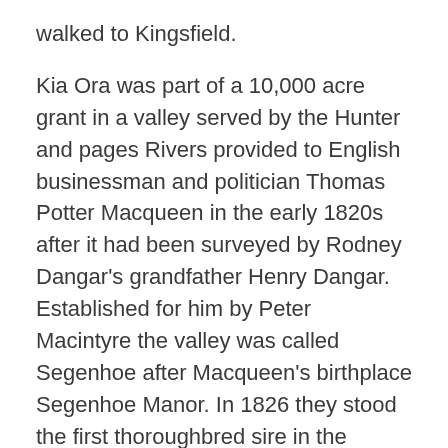walked to Kingsfield.
Kia Ora was part of a 10,000 acre grant in a valley served by the Hunter and pages Rivers provided to English businessman and politician Thomas Potter Macqueen in the early 1820s after it had been surveyed by Rodney Dangar's grandfather Henry Dangar. Established for him by Peter Macintyre the valley was called Segenhoe after Macqueen's birthplace Segenhoe Manor. In 1826 they stood the first thoroughbred sire in the Hunter Valley, and England bred stallion named Crawford. As they were very likely a few mares in the region as early as 1820, the Hunter Valley is on the eve of 200 years as horse breeding country.
One of the greatest Hunter Valley bred horses of